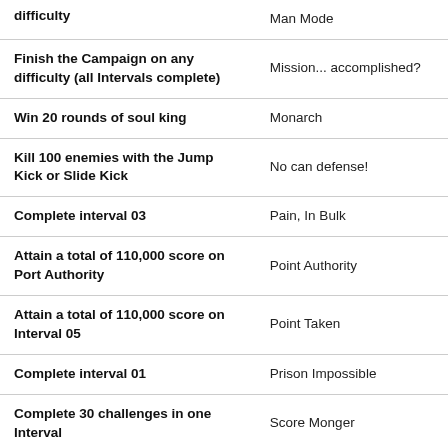| Objective | Achievement |
| --- | --- |
| difficulty | Man Mode |
| Finish the Campaign on any difficulty (all Intervals complete) | Mission... accomplished? |
| Win 20 rounds of soul king | Monarch |
| Kill 100 enemies with the Jump Kick or Slide Kick | No can defense! |
| Complete interval 03 | Pain, In Bulk |
| Attain a total of 110,000 score on Port Authority | Point Authority |
| Attain a total of 110,000 score on Interval 05 | Point Taken |
| Complete interval 01 | Prison Impossible |
| Complete 30 challenges in one Interval | Score Monger |